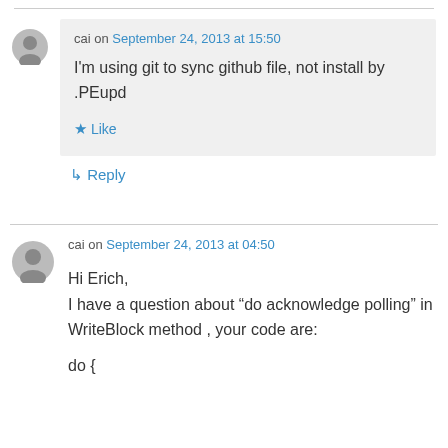cai on September 24, 2013 at 15:50
I’m using git to sync github file, not install by .PEupd
★ Like
↳ Reply
cai on September 24, 2013 at 04:50
Hi Erich,
I have a question about “do acknowledge polling” in WriteBlock method , your code are:
do {